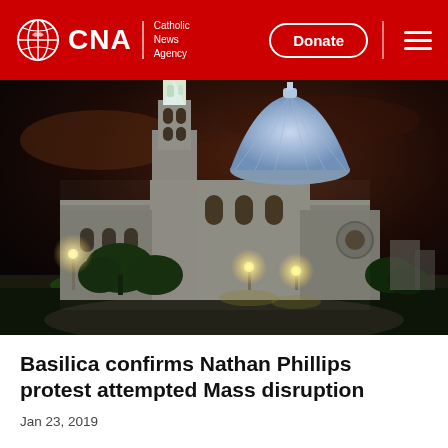CNA | Catholic News Agency — Donate
[Figure (photo): Night photograph of the Basilica of the National Shrine of the Immaculate Conception in Washington D.C., illuminated against a dark red-brown sky, with green trees in the foreground and street lights visible.]
Basilica confirms Nathan Phillips protest attempted Mass disruption
Jan 23, 2019